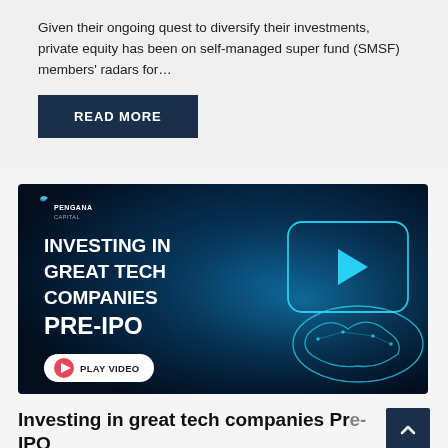Given their ongoing quest to diversify their investments, private equity has been on self-managed super fund (SMSF) members' radars for…
READ MORE
[Figure (screenshot): Pengana Capital video thumbnail with dark blue background showing 'INVESTING IN GREAT TECH COMPANIES PRE-IPO' text and a wireframe hand holding a glowing play button icon. A pink 'PLAY VIDEO' button is at the bottom left.]
Investing in great tech companies Pre-IPO